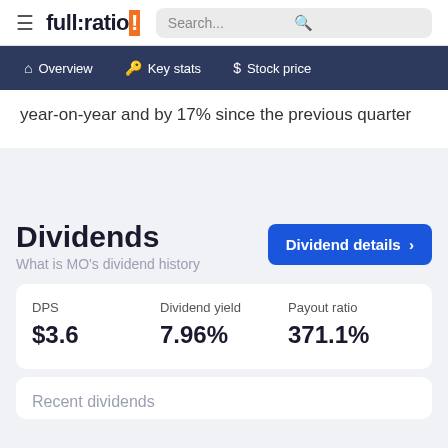full:ratio | Search... | Overview | Key stats | Stock price
year-on-year and by 17% since the previous quarter
Dividends
What is MO's dividend history
| DPS | Dividend yield | Payout ratio |
| --- | --- | --- |
| $3.6 | 7.96% | 371.1% |
Recent dividends